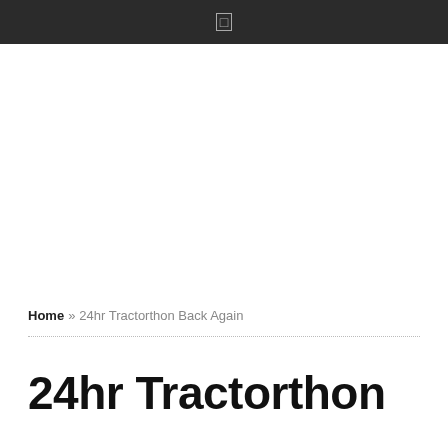Home » 24hr Tractorthon Back Again
24hr Tractorthon